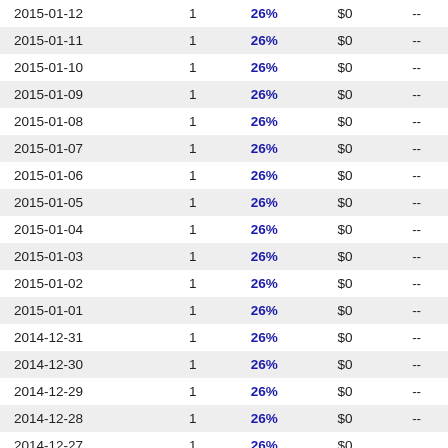| 2015-01-12 | 1 | 26% | $0 | -- |
| 2015-01-11 | 1 | 26% | $0 | -- |
| 2015-01-10 | 1 | 26% | $0 | -- |
| 2015-01-09 | 1 | 26% | $0 | -- |
| 2015-01-08 | 1 | 26% | $0 | -- |
| 2015-01-07 | 1 | 26% | $0 | -- |
| 2015-01-06 | 1 | 26% | $0 | -- |
| 2015-01-05 | 1 | 26% | $0 | -- |
| 2015-01-04 | 1 | 26% | $0 | -- |
| 2015-01-03 | 1 | 26% | $0 | -- |
| 2015-01-02 | 1 | 26% | $0 | -- |
| 2015-01-01 | 1 | 26% | $0 | -- |
| 2014-12-31 | 1 | 26% | $0 | -- |
| 2014-12-30 | 1 | 26% | $0 | -- |
| 2014-12-29 | 1 | 26% | $0 | -- |
| 2014-12-28 | 1 | 26% | $0 | -- |
| 2014-12-27 | 1 | 26% | $0 | -- |